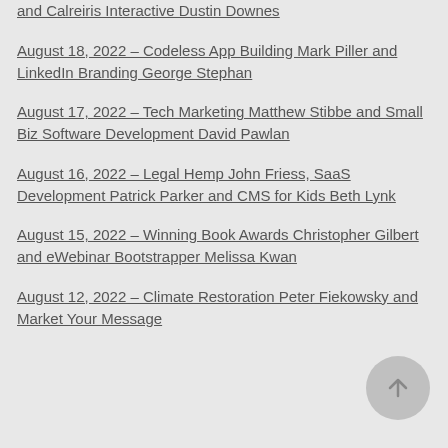and Calreiris Interactive Dustin Downes
August 18, 2022 – Codeless App Building Mark Piller and LinkedIn Branding George Stephan
August 17, 2022 – Tech Marketing Matthew Stibbe and Small Biz Software Development David Pawlan
August 16, 2022 – Legal Hemp John Friess, SaaS Development Patrick Parker and CMS for Kids Beth Lynk
August 15, 2022 – Winning Book Awards Christopher Gilbert and eWebinar Bootstrapper Melissa Kwan
August 12, 2022 – Climate Restoration Peter Fiekowsky and Market Your Message